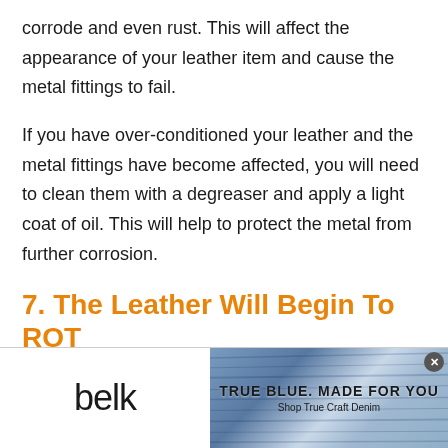corrode and even rust. This will affect the appearance of your leather item and cause the metal fittings to fail.
If you have over-conditioned your leather and the metal fittings have become affected, you will need to clean them with a degreaser and apply a light coat of oil. This will help to protect the metal from further corrosion.
7. The Leather Will Begin To ROT
[Figure (other): Advertisement banner for Belk brand. Left side shows 'belk' logo in black text on white background. Right side shows denim fabric texture with text 'TRUE BLUE. MADE FOR YOU' and 'Shop True Craft Denim'. Close button (x) in top right corner.]